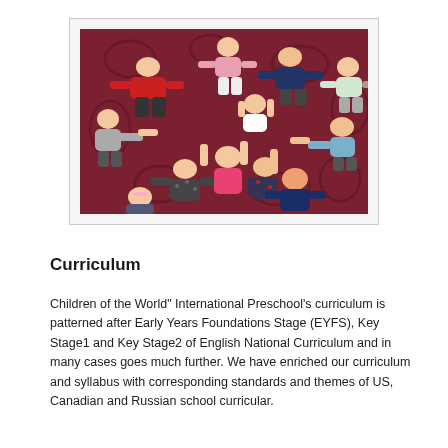[Figure (photo): Aerial view of children lying in a circle on a dark red patterned carpet, viewed from above, with arms outstretched toward the center.]
Curriculum
Children of the World" International Preschool's curriculum is patterned after Early Years Foundations Stage (EYFS), Key Stage1 and Key Stage2 of English National Curriculum and in many cases goes much further. We have enriched our curriculum and syllabus with corresponding standards and themes of US, Canadian and Russian school curricular.